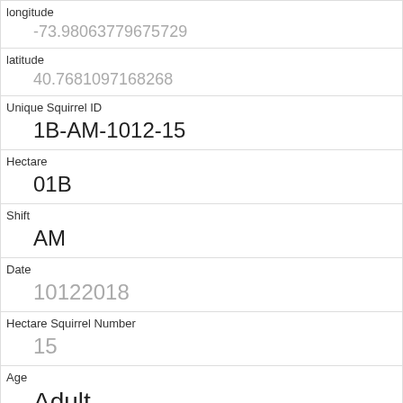| Field | Value |
| --- | --- |
| longitude | -73.98063779675729 |
| latitude | 40.7681097168268 |
| Unique Squirrel ID | 1B-AM-1012-15 |
| Hectare | 01B |
| Shift | AM |
| Date | 10122018 |
| Hectare Squirrel Number | 15 |
| Age | Adult |
| Primary Fur Color | Gray |
| Highlight Fur Color |  |
| Combination of Primary and Highlight Color |  |